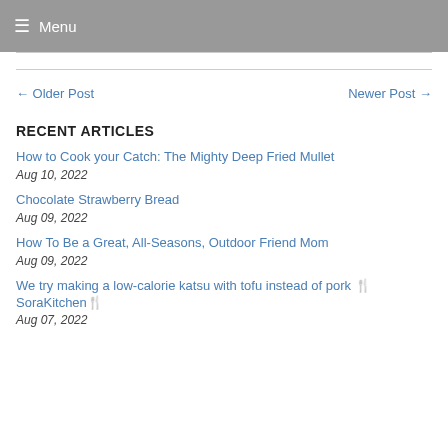≡ Menu
← Older Post    Newer Post →
RECENT ARTICLES
How to Cook your Catch: The Mighty Deep Fried Mullet
Aug 10, 2022
Chocolate Strawberry Bread
Aug 09, 2022
How To Be a Great, All-Seasons, Outdoor Friend Mom
Aug 09, 2022
We try making a low-calorie katsu with tofu instead of pork 🍴SoraKitchen🍴
Aug 07, 2022